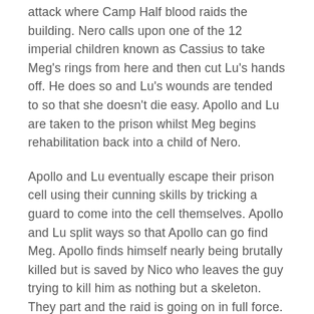attack where Camp Half blood raids the building. Nero calls upon one of the 12 imperial children known as Cassius to take Meg's rings from here and then cut Lu's hands off. He does so and Lu's wounds are tended to so that she doesn't die easy. Apollo and Lu are taken to the prison whilst Meg begins rehabilitation back into a child of Nero.
Apollo and Lu eventually escape their prison cell using their cunning skills by tricking a guard to come into the cell themselves. Apollo and Lu split ways so that Apollo can go find Meg. Apollo finds himself nearly being brutally killed but is saved by Nico who leaves the guy trying to kill him as nothing but a skeleton. They part and the raid is going on in full force.